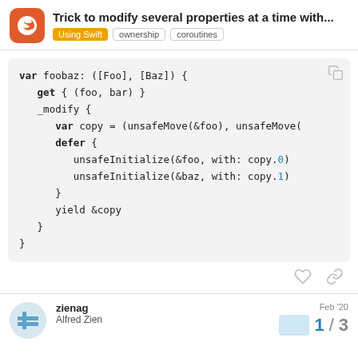Trick to modify several properties at a time with... | Using Swift | ownership | coroutines
[Figure (screenshot): Swift code block showing a var foobaz property with get and _modify accessors using unsafeMove and unsafeInitialize]
zienag
Alfred Zien
Feb '20
1 / 3